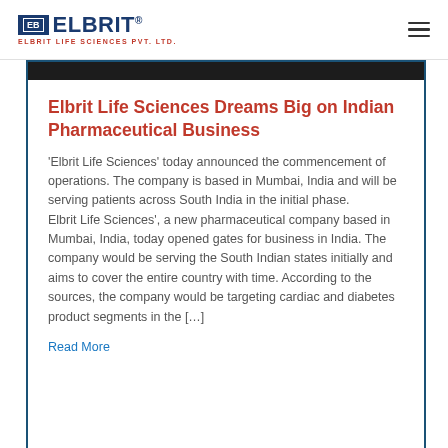[Figure (logo): Elbrit Life Sciences Pvt. Ltd. logo with blue box icon and red subtitle text]
Elbrit Life Sciences Dreams Big on Indian Pharmaceutical Business
'Elbrit Life Sciences' today announced the commencement of operations. The company is based in Mumbai, India and will be serving patients across South India in the initial phase. Elbrit Life Sciences', a new pharmaceutical company based in Mumbai, India, today opened gates for business in India. The company would be serving the South Indian states initially and aims to cover the entire country with time. According to the sources, the company would be targeting cardiac and diabetes product segments in the [...]
Read More